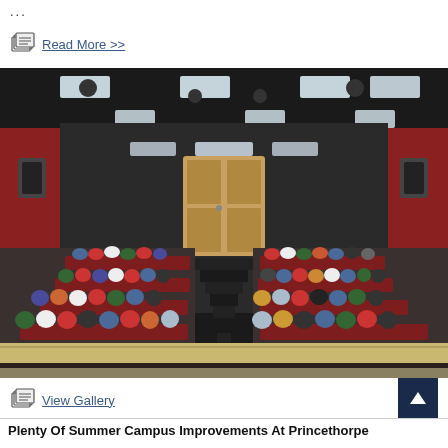...
Read More >>
[Figure (photo): Large auditorium/lecture theatre with tiered seating filled with children seated in rows facing forward. The room has dark ceiling with stage lighting, red side walls, a central wooden door at the back, and a central staircase between the seating sections. Many children of various ages are seated in dark red/maroon chairs.]
View Gallery
Plenty Of Summer Campus Improvements At Princethorpe